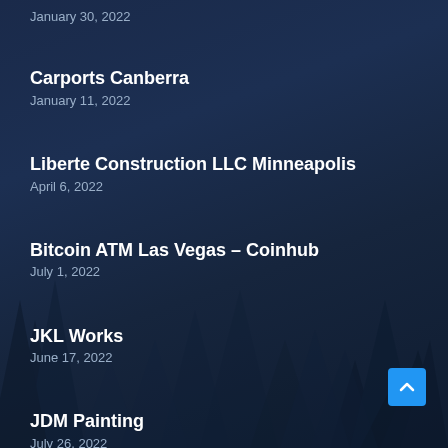Rena Carports
January 30, 2022
Carports Canberra
January 11, 2022
Liberte Construction LLC Minneapolis
April 6, 2022
Bitcoin ATM Las Vegas – Coinhub
July 1, 2022
JKL Works
June 17, 2022
JDM Painting
July 26, 2022